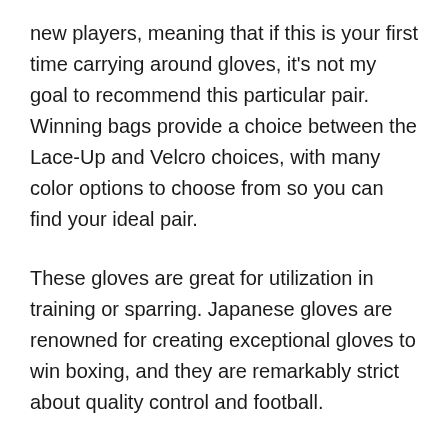new players, meaning that if this is your first time carrying around gloves, it's not my goal to recommend this particular pair. Winning bags provide a choice between the Lace-Up and Velcro choices, with many color options to choose from so you can find your ideal pair.
These gloves are great for utilization in training or sparring. Japanese gloves are renowned for creating exceptional gloves to win boxing, and they are remarkably strict about quality control and football.
I can use confidence to say that winning boxing gloves are an excellent option for heavy bag training